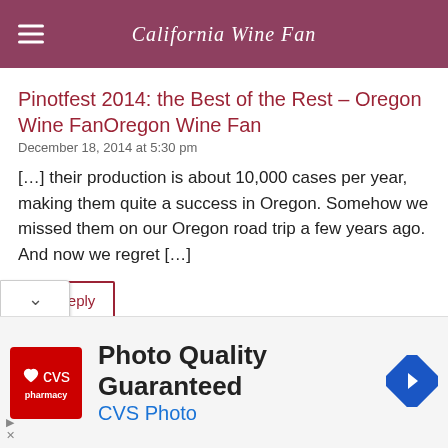California Wine Fan
Pinotfest 2014: the Best of the Rest – Oregon Wine FanOregon Wine Fan
December 18, 2014 at 5:30 pm
[…] their production is about 10,000 cases per year, making them quite a success in Oregon. Somehow we missed them on our Oregon road trip a few years ago. And now we regret […]
Reply
Pinotfest 2014: the Best of the Rest – California Wine FanCalifornia Wine Fan
er 18, 2014 at 2:09 pm
[Figure (screenshot): CVS Pharmacy advertisement banner: red CVS logo with heart, text 'Photo Quality Guaranteed' and 'CVS Photo', blue navigation arrow icon on the right]